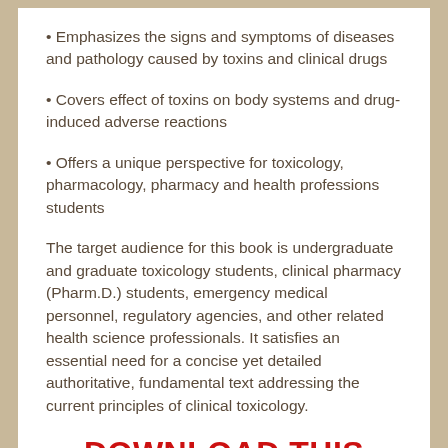• Emphasizes the signs and symptoms of diseases and pathology caused by toxins and clinical drugs
• Covers effect of toxins on body systems and drug-induced adverse reactions
• Offers a unique perspective for toxicology, pharmacology, pharmacy and health professions students
The target audience for this book is undergraduate and graduate toxicology students, clinical pharmacy (Pharm.D.) students, emergency medical personnel, regulatory agencies, and other related health science professionals. It satisfies an essential need for a concise yet detailed authoritative, fundamental text addressing the current principles of clinical toxicology.
DOWNLOAD THIS MEDICAL BOOK